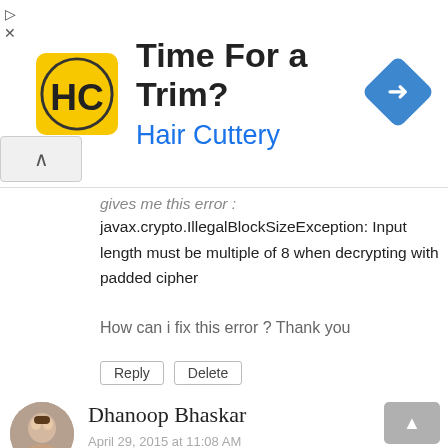[Figure (illustration): Advertisement banner for Hair Cuttery with yellow logo, text 'Time For a Trim?' and 'Hair Cuttery', and a blue navigation/map icon on the right.]
gives me this error :
javax.crypto.IllegalBlockSizeException: Input length must be multiple of 8 when decrypting with padded cipher
How can i fix this error ? Thank you
Reply   Delete
Dhanoop Bhaskar
April 29, 2015 at 11:08 AM
Replace
cipher = Cipher.getInstance("Blowfish");
by
cipher =
Cipher.getInstance("Blowfish/ECB/PKCS5P